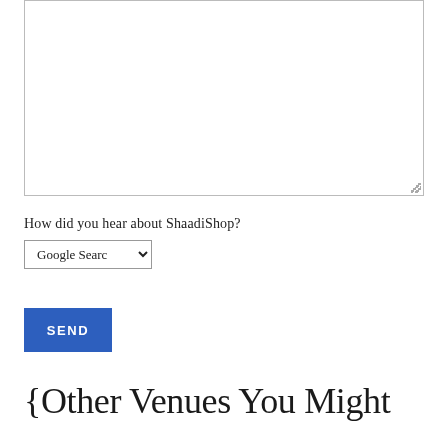[Figure (screenshot): Empty textarea form field with resize handle in bottom-right corner]
How did you hear about ShaadiShop?
[Figure (screenshot): Dropdown select field showing 'Google Search' with a chevron/arrow indicator]
[Figure (screenshot): Blue 'SEND' button]
{Other Venues You Might